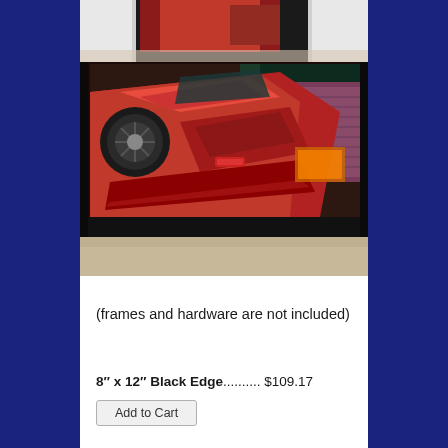[Figure (photo): Close-up photo of a canvas print showing a red car with black edge wrap, viewed from a low angle on a light surface]
(frames and hardware are not included)
8″ x 12″ Black Edge.......... $109.17
Add to Cart